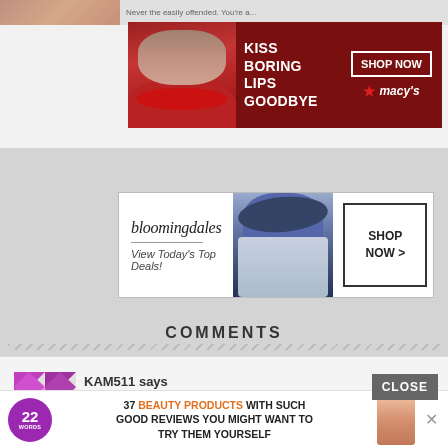[Figure (photo): Macy's advertisement banner: dark red background with lips/face, text KISS BORING LIPS GOODBYE, SHOP NOW, macy's logo with star]
[Figure (photo): Bloomingdales advertisement: white banner with logo 'bloomingdales', tagline 'View Today's Top Deals!', woman with hat model image, SHOP NOW > button]
COMMENTS
KAM511 says
July 25, 2019 at 2:36 am
[Figure (infographic): Bottom notification banner: purple '22 WORDS' badge, text '37 BEAUTY PRODUCTS WITH SUCH GOOD REVIEWS YOU MIGHT WANT TO TRY THEM YOURSELF', close X button, product photo]